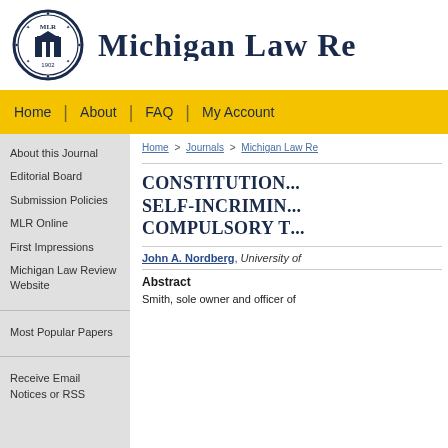Michigan Law Review
Home | About | FAQ | My Account
About this Journal
Editorial Board
Submission Policies
MLR Online
First Impressions
Michigan Law Review Website
Most Popular Papers
Receive Email Notices or RSS
Home > Journals > Michigan Law Re...
CONSTITUTION... SELF-INCRIMIN... COMPULSORY T...
John A. Nordberg, University of...
Abstract
Smith, sole owner and officer of...